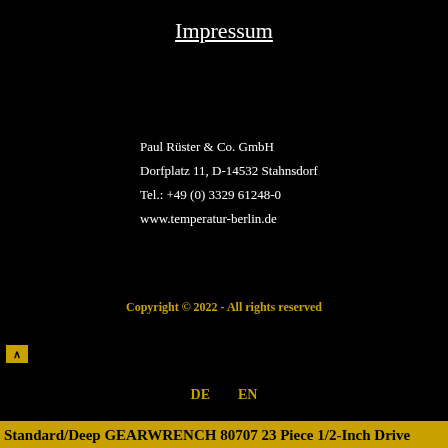Impressum
Paul Rüster & Co. GmbH
Dorfplatz 11, D-14532 Stahnsdorf
Tel.: +49 (0) 3329 61248-0
www.temperatur-berlin.de
Copyright © 2022 - All rights reserved
DE   EN
Standard/Deep GEARWRENCH 80707 23 Piece 1/2-Inch Drive